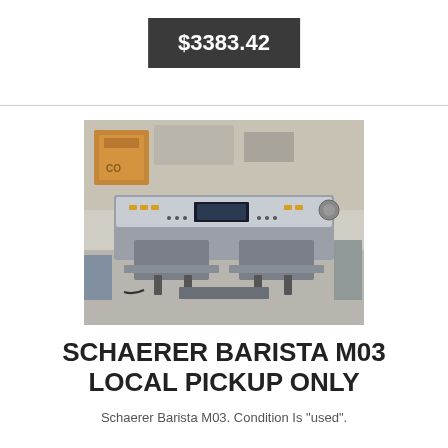$3383.42
[Figure (photo): Photo of a Schaerer Barista M03 commercial espresso machine, stainless steel finish with control panel, two group heads, situated on a counter in a commercial kitchen setting]
SCHAERER BARISTA M03 LOCAL PICKUP ONLY
Schaerer Barista M03. Condition Is "used".